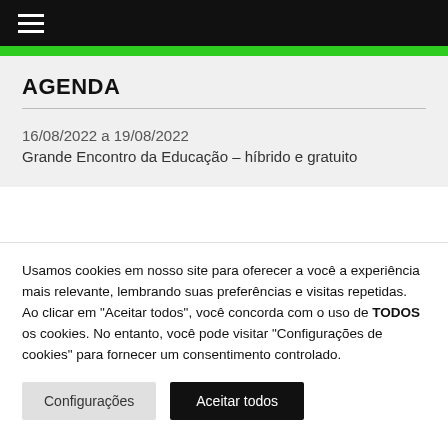☰ (navigation menu)
AGENDA
16/08/2022 a 19/08/2022
Grande Encontro da Educação – híbrido e gratuito
Usamos cookies em nosso site para oferecer a você a experiência mais relevante, lembrando suas preferências e visitas repetidas. Ao clicar em "Aceitar todos", você concorda com o uso de TODOS os cookies. No entanto, você pode visitar "Configurações de cookies" para fornecer um consentimento controlado.
Configurações
Aceitar todos